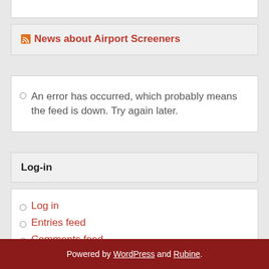News about Airport Screeners
An error has occurred, which probably means the feed is down. Try again later.
Log-in
Log in
Entries feed
Comments feed
WordPress.org
Powered by WordPress and Rubine.